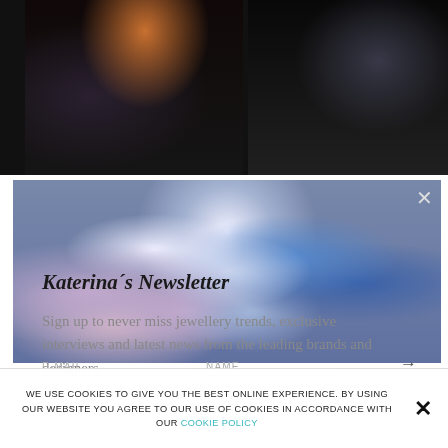[Figure (photo): Two dark photos side by side: left shows a person near flowers, right shows a person outdoors at night]
[Figure (photo): Blurred gemstones and crystals in blue, silver, and pink tones with bokeh effect]
Katerina´s Newsletter
Sign up to never miss jewellery trends, exclusive interviews and latest news from the leading brands and designers.
E-MAIL    NAME    →
WE USE COOKIES TO GIVE YOU THE BEST ONLINE EXPERIENCE. BY USING OUR WEBSITE YOU AGREE TO OUR USE OF COOKIES IN ACCORDANCE WITH OUR COOKIE POLICY